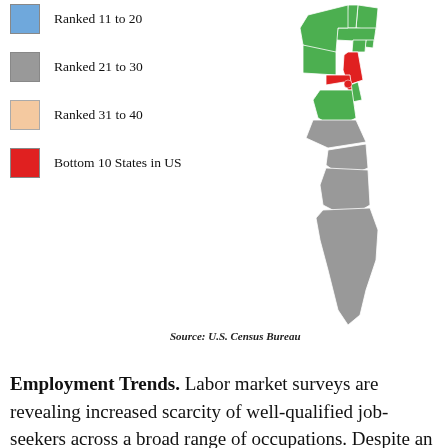Ranked 11 to 20
Ranked 21 to 30
Ranked 31 to 40
Bottom 10 States in US
[Figure (map): Partial US East Coast map showing states color-coded by ranking. Green states are top ranked, red states are bottom 10, gray states ranked 21-30, peach/tan states ranked 31-40.]
Source: U.S. Census Bureau
Employment Trends. Labor market surveys are revealing increased scarcity of well-qualified job-seekers across a broad range of occupations. Despite an above-average concentration of college-educated workers along the East Coast, STEM (scientific, technology, engineering, and mathematics) specialists are much in demand, and employers are in bidding wars to secure this